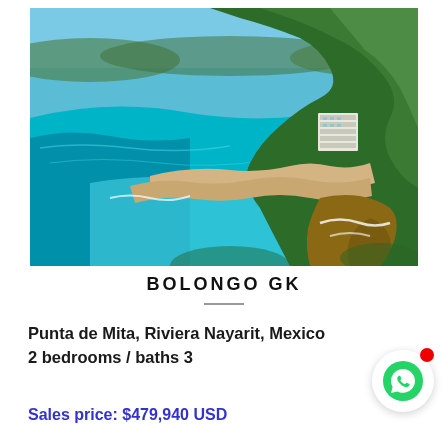[Figure (photo): Aerial drone photo of Punta de Mita coastline, Riviera Nayarit, Mexico, showing turquoise blue ocean water, sandy beaches, rocky headlands, and lush green jungle/tropical forest with a resort hotel visible among the trees]
BOLONGO GK
Punta de Mita, Riviera Nayarit, Mexico
2 bedrooms / baths 3
Sales price: $479,940 USD